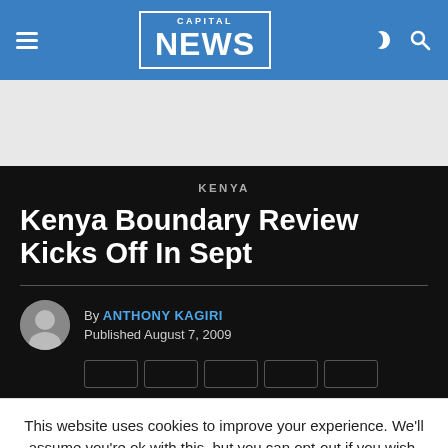CAPITAL NEWS
[Figure (screenshot): Gray advertisement placeholder area]
KENYA
Kenya Boundary Review Kicks Off In Sept
By ANTHONY KAGIRI
Published August 7, 2009
This website uses cookies to improve your experience. We'll assume you're ok with this, but you can opt-out if you wish.
Cookie settings   ACCEPT